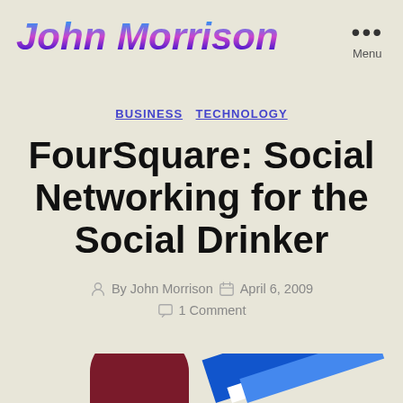John Morrison
Menu
BUSINESS  TECHNOLOGY
FourSquare: Social Networking for the Social Drinker
By John Morrison  April 6, 2009  1 Comment
[Figure (illustration): Partial illustration at the bottom of the page showing a dark red curved shape on the left and blue/white diagonal stripes on the right]